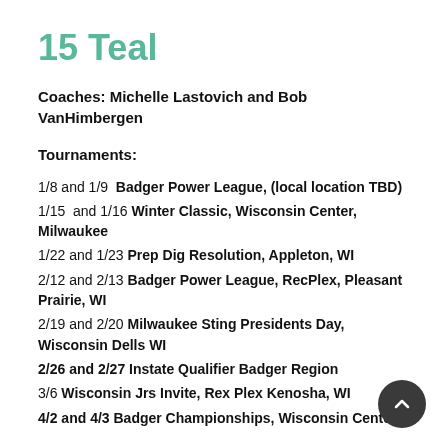15 Teal
Coaches: Michelle Lastovich and Bob VanHimbergen
Tournaments:
1/8 and 1/9  Badger Power League, (local location TBD)
1/15  and 1/16 Winter Classic, Wisconsin Center, Milwaukee
1/22 and 1/23 Prep Dig Resolution, Appleton, WI
2/12 and 2/13 Badger Power League, RecPlex, Pleasant Prairie, WI
2/19 and 2/20 Milwaukee Sting Presidents Day, Wisconsin Dells WI
2/26 and 2/27 Instate Qualifier Badger Region
3/6 Wisconsin Jrs Invite, Rex Plex Kenosha, WI
4/2 and 4/3 Badger Championships, Wisconsin Center